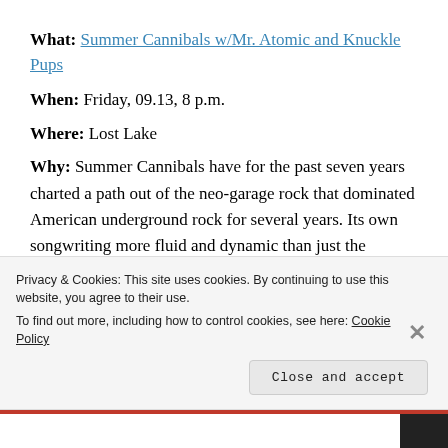What: Summer Cannibals w/Mr. Atomic and Knuckle Pups
When: Friday, 09.13, 8 p.m.
Where: Lost Lake
Why: Summer Cannibals have for the past seven years charted a path out of the neo-garage rock that dominated American underground rock for several years. Its own songwriting more fluid and dynamic than just the adolescent release and raw, youthful enthusiasm that was both what was exciting but
Privacy & Cookies: This site uses cookies. By continuing to use this website, you agree to their use. To find out more, including how to control cookies, see here: Cookie Policy
Close and accept